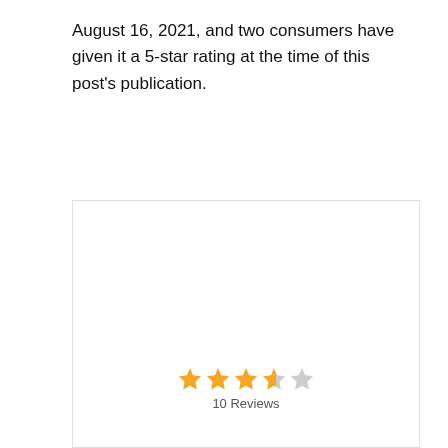August 16, 2021, and two consumers have given it a 5-star rating at the time of this post's publication.
[Figure (screenshot): A screenshot or embedded widget showing a star rating of approximately 3.5 out of 5 stars and '10 Reviews' text below the stars.]